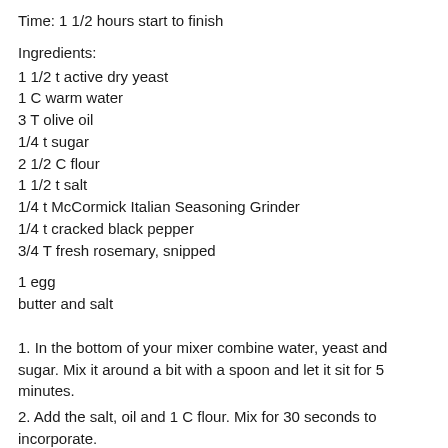Time: 1 1/2 hours start to finish
Ingredients:
1 1/2 t active dry yeast
1 C warm water
3 T olive oil
1/4 t sugar
2 1/2 C flour
1 1/2 t salt
1/4 t McCormick Italian Seasoning Grinder
1/4 t cracked black pepper
3/4 T fresh rosemary, snipped
1 egg
butter and salt
1. In the bottom of your mixer combine water, yeast and sugar. Mix it around a bit with a spoon and let it sit for 5 minutes.
2. Add the salt, oil and 1 C flour. Mix for 30 seconds to incorporate.